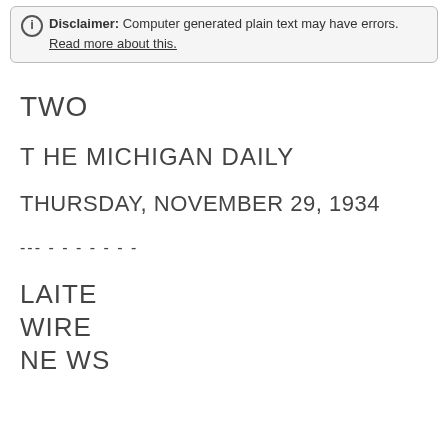Disclaimer: Computer generated plain text may have errors. Read more about this.
TWO
T HE MICHIGAN DAILY
THURSDAY, NOVEMBER 29, 1934
--- - - - - - - -
LAITE
WIRE
NE WS